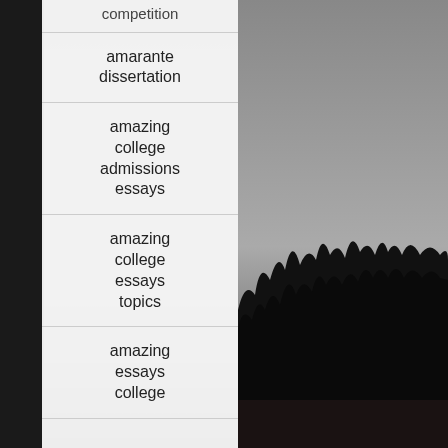[Figure (photo): Black and white photo of a forest treeline silhouette against a grey sky, viewed across a body of water]
competition
amarante dissertation
amazing college admissions essays
amazing college essays topics
amazing essays college